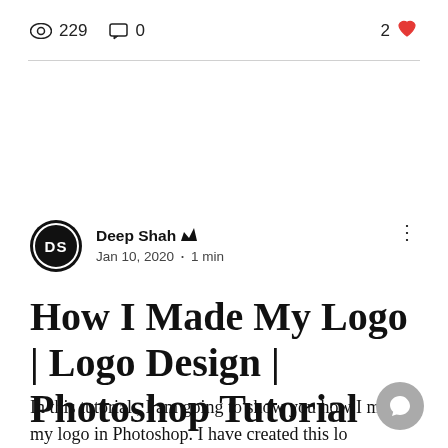229 views  0 comments  2 likes
Deep Shah  Jan 10, 2020 · 1 min
How I Made My Logo | Logo Design | Photoshop Tutorial
In this tutorial , I am going to show you how I made my logo in Photoshop. I have created this lo...